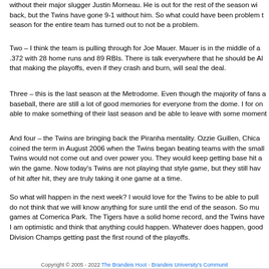without their major slugger Justin Morneau. He is out for the rest of the season with a back, but the Twins have gone 9-1 without him. So what could have been problem t season for the entire team has turned out to not be a problem.
Two – I think the team is pulling through for Joe Mauer. Mauer is in the middle of a .372 with 28 home runs and 89 RBIs. There is talk everywhere that he should be Al that making the playoffs, even if they crash and burn, will seal the deal.
Three – this is the last season at the Metrodome. Even though the majority of fans a baseball, there are still a lot of good memories for everyone from the dome. I for on able to make something of their last season and be able to leave with some moments.
And four – the Twins are bringing back the Piranha mentality. Ozzie Guillen, Chica coined the term in August 2006 when the Twins began beating teams with the small Twins would not come out and over power you. They would keep getting base hit a win the game. Now today's Twins are not playing that style game, but they still hav of hit after hit, they are truly taking it one game at a time.
So what will happen in the next week? I would love for the Twins to be able to pull do not think that we will know anything for sure until the end of the season. So mu games at Comerica Park. The Tigers have a solid home record, and the Twins have I am optimistic and think that anything could happen. Whatever does happen, good Division Champs getting past the first round of the playoffs.
Copyright © 2005 - 2022 The Brandeis Hoot - Brandeis University's Community